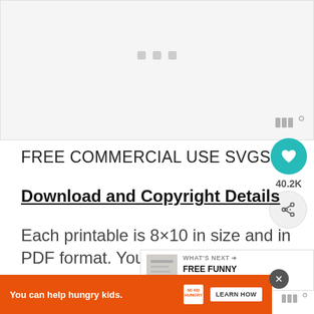[Figure (other): Gray placeholder image area with three small gray squares/dots in the center and a watermark in the bottom right corner]
FREE COMMERCIAL USE SVGS
Download and Copyright Details
Each printable is 8×10 in size and in PDF format. You will need a PDF re... (Adobe)
[Figure (other): What's Next overlay panel showing: FREE FUNNY BATHROOM... with thumbnail image]
You can help hungry kids. NO KID HUNGRY LEARN HOW